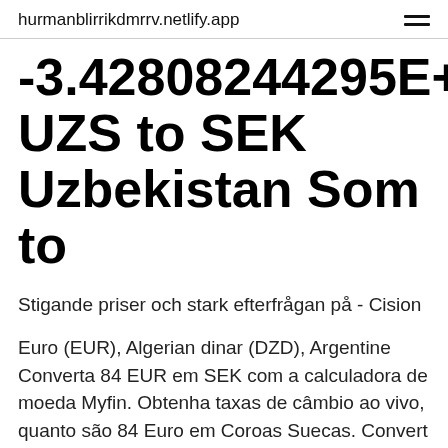hurmanblirrikdmrrv.netlify.app
-3.42808244295E+16 UZS to SEK Uzbekistan Som to
Stigande priser och stark efterfrågan på - Cision
Euro (EUR), Algerian dinar (DZD), Argentine Converta 84 EUR em SEK com a calculadora de moeda Myfin. Obtenha taxas de câmbio ao vivo, quanto são 84 Euro em Coroas Suecas. Convert 1 Swedish Krona to Euro. Get live mid-market